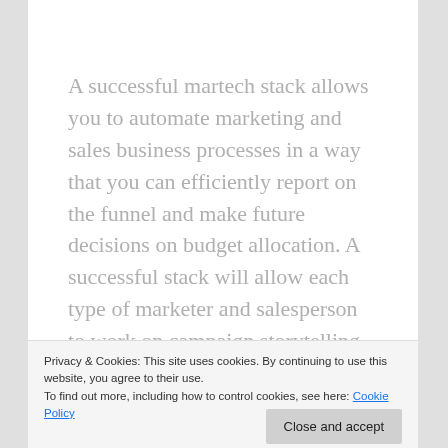A successful martech stack allows you to automate marketing and sales business processes in a way that you can efficiently report on the funnel and make future decisions on budget allocation. A successful stack will allow each type of marketer and salesperson to work on campaign storytelling and relationship building, rather than analysis.
Privacy & Cookies: This site uses cookies. By continuing to use this website, you agree to their use. To find out more, including how to control cookies, see here: Cookie Policy
As you become more experienced in Marketing Operations or Marketing Technology, your martech stack will grow in complexity, or